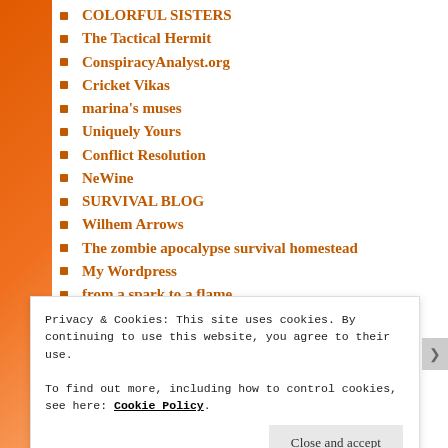COLORFUL SISTERS
The Tactical Hermit
ConspiracyAnalyst.org
Cricket Vikas
marina's muses
Uniquely Yours
Conflict Resolution
NeWine
SURVIVAL BLOG
Wilhem Arrows
The zombie apocalypse survival homestead
My Wordpress
from a spark to a flame
Pure Glory
Leisurely Lynn
Privacy & Cookies: This site uses cookies. By continuing to use this website, you agree to their use.
To find out more, including how to control cookies, see here: Cookie Policy
Close and accept